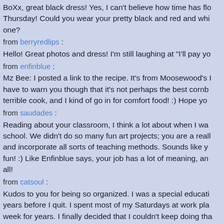BoXx, great black dress! Yes, I can't believe how time has flo... Thursday! Could you wear your pretty black and red and whi... one?
from berryredlips :
Hello! Great photos and dress! I'm still laughing at "I'll pay yo...
from enfinblue :
Mz Bee: I posted a link to the recipe. It's from Moosewood's I... have to warn you though that it's not perhaps the best cornb... terrible cook, and I kind of go in for comfort food! :) Hope yo...
from saudades :
Reading about your classroom, I think a lot about when I wa... school. We didn't do so many fun art projects; you are a reall... and incorporate all sorts of teaching methods. Sounds like y... fun! :) Like Enfinblue says, your job has a lot of meaning, an... all!
from catsoul :
Kudos to you for being so organized. I was a special educati... years before I quit. I spent most of my Saturdays at work pla... week for years. I finally decided that I couldn't keep doing tha... So when he was 9 years old I quit. I now for for the county w... developmental disabled adults. So it is related. Anyway, I jus... I admire your diligence and spirit of educationing the young... and have a great week =^..^=
from enfinblue :